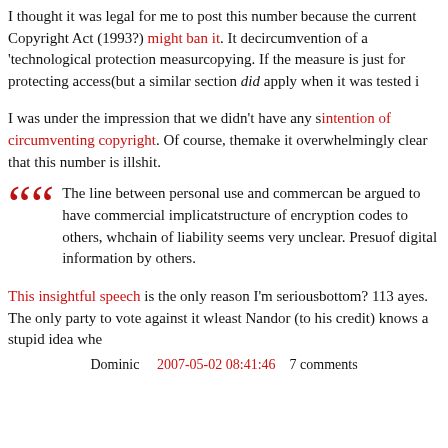I thought it was legal for me to post this number because the current Copyright Act (1993?) might ban it. It deals with circumvention of a 'technological protection measure' to aid copying. If the measure is just for protecting access (but a similar section did apply when it was tested in
I was under the impression that we didn't have any intention of circumventing copyright. Of course, the make it overwhelmingly clear that this number is ill shit.
The line between personal use and commercial can be argued to have commercial implications structure of encryption codes to others, who chain of liability seems very unclear. Presumption of digital information by others.
This insightful speech is the only reason I'm serious bottom? 113 ayes. The only party to vote against it was least Nandor (to his credit) knows a stupid idea when
Dominic    2007-05-02 08:41:46    7 comments